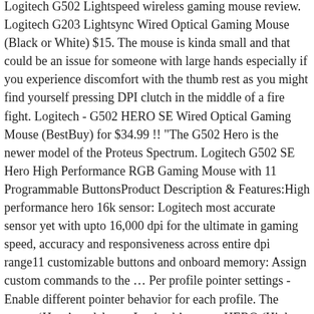Logitech G502 Lightspeed wireless gaming mouse review. Logitech G203 Lightsync Wired Optical Gaming Mouse (Black or White) $15. The mouse is kinda small and that could be an issue for someone with large hands especially if you experience discomfort with the thumb rest as you might find yourself pressing DPI clutch in the middle of a fire fight. Logitech - G502 HERO SE Wired Optical Gaming Mouse (BestBuy) for $34.99 !! "The G502 Hero is the newer model of the Proteus Spectrum. Logitech G502 SE Hero High Performance RGB Gaming Mouse with 11 Programmable ButtonsProduct Description & Features:High performance hero 16k sensor: Logitech most accurate sensor yet with upto 16,000 dpi for the ultimate in gaming speed, accuracy and responsiveness across entire dpi range11 customizable buttons and onboard memory: Assign custom commands to the … Per profile pointer settings - Enable different pointer behavior for each profile. The newer ‘Hero’ model uses Logitech’s newer HERO (High Efficiency Rated Optical)